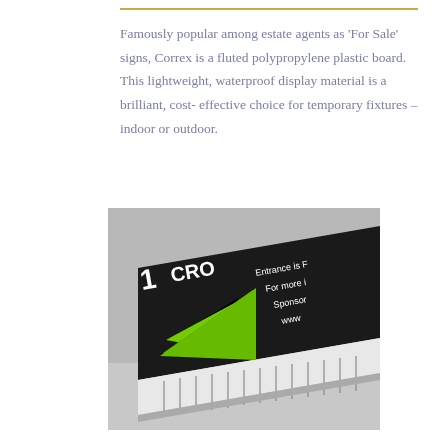Famously popular among estate agents as ‘For Sale’ signs, Correx is a fluted polypropylene plastic board. This lightweight, waterproof display material is a brilliant, cost-effective choice for temporary fixtures – indoor or outdoor.
[Figure (photo): Close-up photo of a fluted Correx (corrugated polypropylene) board shown at an angle, with a black printed surface displaying partial text 'CRO...', 'Entrance is...', 'For more i...', 'Sponsor...', 'www...' in white, and a green triangle/arrow graphic. The side reveals the internal fluted/ribbed structure of the plastic board, all on a grey background.]